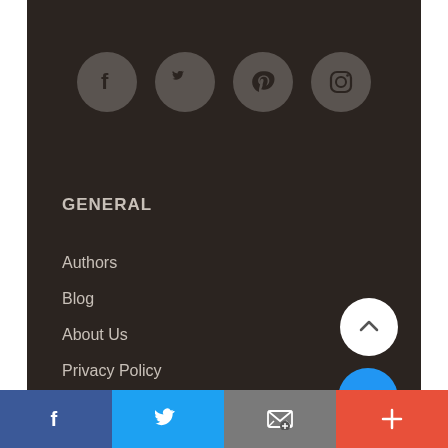[Figure (infographic): Four social media icons in dark grey circles: Facebook, Twitter, Pinterest, Instagram]
GENERAL
Authors
Blog
About Us
Privacy Policy
Contact SBP
Submission Guidelines
Join the SBP Mailing List
Search Site
Facebook | Twitter | Email | More